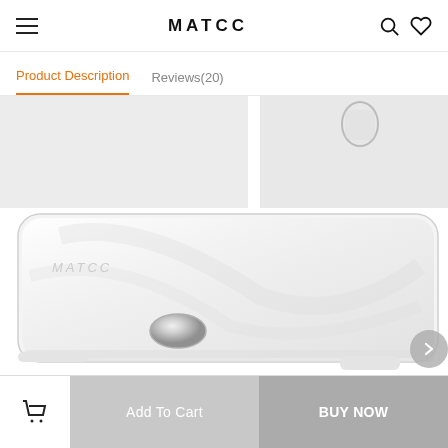MATCC
Product Description   Reviews(20)
[Figure (photo): Close-up photo of a white glass bathroom scale (MATCC brand) showing the smooth glass surface with subtle leaf pattern, a round chrome button/sensor, and the scale's edge resting on white feet. Upper portion shows a partial image of the back of the scale.]
Add To Cart   BUY NOW